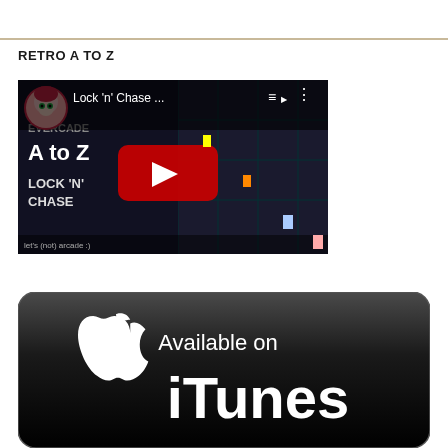RETRO A TO Z
[Figure (screenshot): YouTube video thumbnail for 'Lock n Chase' from Evercade A to Z series, showing a retro game screenshot with a play button overlay]
[Figure (logo): Available on iTunes badge — black rounded rectangle with Apple logo and text 'Available on iTunes']